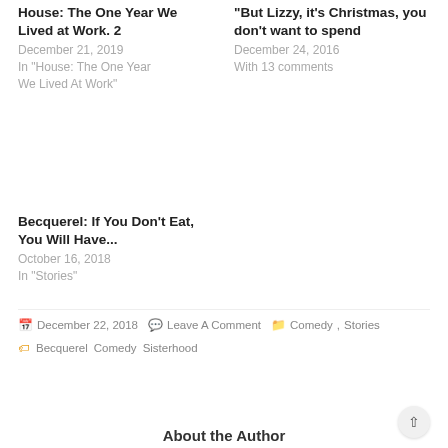House: The One Year We Lived at Work. 2
December 21, 2019
In "House: The One Year We Lived At Work"
“But Lizzy, it’s Christmas, you don’t want to spend
December 24, 2016
With 13 comments
Becquerel: If You Don't Eat, You Will Have...
October 16, 2018
In "Stories"
December 22, 2018  Leave A Comment  Comedy , Stories
Becquerel  Comedy  Sisterhood
About the Author